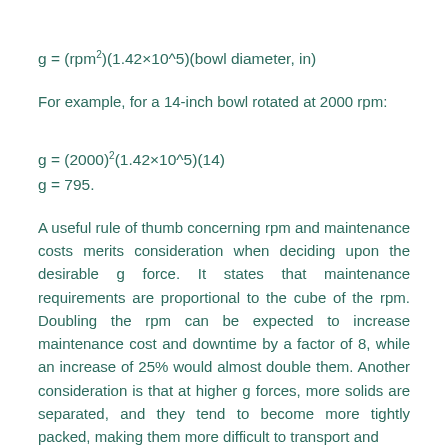For example, for a 14-inch bowl rotated at 2000 rpm:
A useful rule of thumb concerning rpm and maintenance costs merits consideration when deciding upon the desirable g force. It states that maintenance requirements are proportional to the cube of the rpm. Doubling the rpm can be expected to increase maintenance cost and downtime by a factor of 8, while an increase of 25% would almost double them. Another consideration is that at higher g forces, more solids are separated, and they tend to become more tightly packed, making them more difficult to transport and